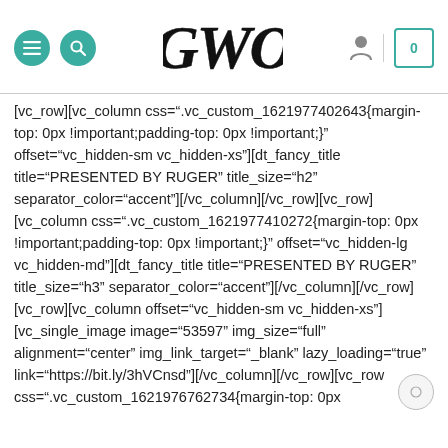GWO website header with navigation icons and logo
[vc_row][vc_column css=".vc_custom_1621977402643{margin-top: 0px !important;padding-top: 0px !important;}" offset="vc_hidden-sm vc_hidden-xs"][dt_fancy_title title="PRESENTED BY RUGER" title_size="h2" separator_color="accent"][/vc_column][/vc_row][vc_row][vc_column css=".vc_custom_1621977410272{margin-top: 0px !important;padding-top: 0px !important;}" offset="vc_hidden-lg vc_hidden-md"][dt_fancy_title title="PRESENTED BY RUGER" title_size="h3" separator_color="accent"][/vc_column][/vc_row][vc_row][vc_column offset="vc_hidden-sm vc_hidden-xs"][vc_single_image image="53597" img_size="full" alignment="center" onclick="custom_link" img_link_target="_blank" lazy_loading="true" link="https://bit.ly/3hVCnsd"][/vc_column][/vc_row][vc_row css=".vc_custom_1621976762734{margin-top: 0px